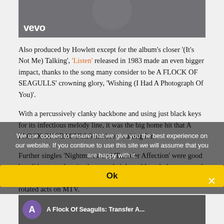[Figure (screenshot): Video thumbnail with vevo logo watermark, showing a blurred figure with white/blonde hair on a dark background]
Also produced by Howlett except for the album's closer '(It's Not Me) Talking', 'Listen' released in 1983 made an even bigger impact, thanks to the song many consider to be A FLOCK OF SEAGULLS' crowning glory, 'Wishing (I Had A Photograph Of You)'.
With a percussively clanky backbone and using just black keys for its infectious melody line, it was the big home hit that A FLOCK OF SEAGULLS has been waiting for.
Further singles 'Nightmares' and 'Transfer Affection' were good but did not reach quite the same heights, although that mattered little as at this point the quartet were one of the most heavily rotated acts on MTV.
We use cookies to ensure that we give you the best experience on our website. If you continue to use this site we will assume that you are happy with it.
[Figure (screenshot): Bottom video strip showing A Flock Of Seagulls Transfer A... with purple circle icon with letter A]